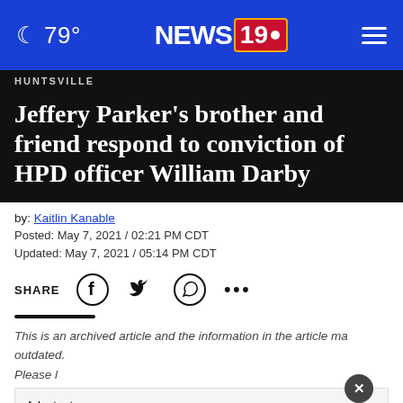🌙 79° | NEWS 19 | ≡
HUNTSVILLE
Jeffery Parker's brother and friend respond to conviction of HPD officer William Darby
by: Kaitlin Kanable
Posted: May 7, 2021 / 02:21 PM CDT
Updated: May 7, 2021 / 05:14 PM CDT
SHARE [Facebook] [Twitter] [WhatsApp] [...]
This is an archived article and the information in the article may be outdated. Please look at the time stamp on the story to see when it was last updated.
Adopt a teen. You can't imagine the reward. [Adopt US Kids] [ad]
HUNTSVILLE, Ala. - The family of Jeffery Parker and...